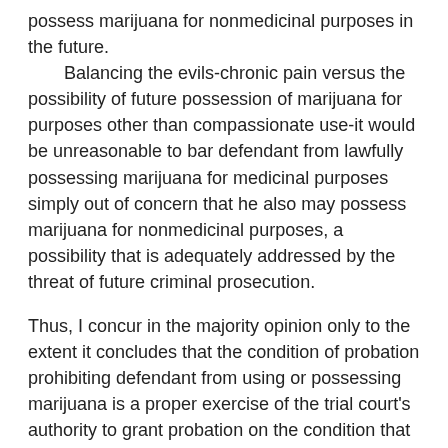possess marijuana for nonmedicinal purposes in the future. Balancing the evils-chronic pain versus the possibility of future possession of marijuana for purposes other than compassionate use-it would be unreasonable to bar defendant from lawfully possessing marijuana for medicinal purposes simply out of concern that he also may possess marijuana for nonmedicinal purposes, a possibility that is adequately addressed by the threat of future criminal prosecution.
Thus, I concur in the majority opinion only to the extent it concludes that the condition of probation prohibiting defendant from using or possessing marijuana is a proper exercise of the trial court's authority to grant probation on the condition that defendant obey all laws, including federal drug laws.
FOOTNOTES